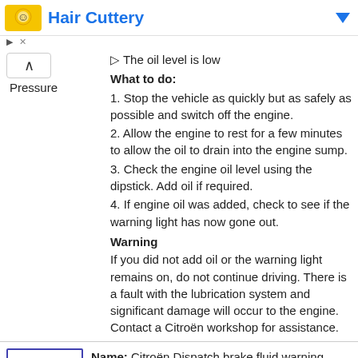Hair Cuttery
▷ The oil level is low
What to do:
1. Stop the vehicle as quickly but as safely as possible and switch off the engine.
2. Allow the engine to rest for a few minutes to allow the oil to drain into the engine sump.
3. Check the engine oil level using the dipstick. Add oil if required.
4. If engine oil was added, check to see if the warning light has now gone out.
Warning
If you did not add oil or the warning light remains on, do not continue driving. There is a fault with the lubrication system and significant damage will occur to the engine. Contact a Citroën workshop for assistance.
[Figure (illustration): Red brake warning light icon — red exclamation mark in parentheses circle, inside a square border]
Name: Citroën Dispatch brake fluid warning light. Description: The red exclamation mark in a circle comes on for the following reasons: ▷ Parking brake is applied ▷ Brake fluid level is low